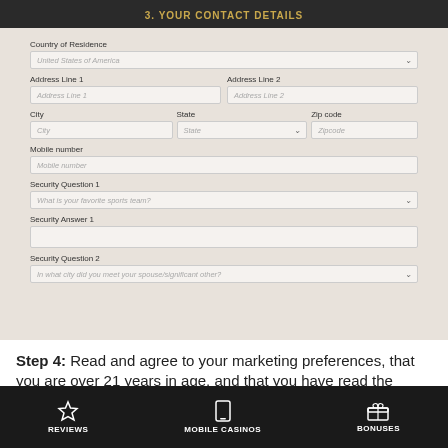3. YOUR CONTACT DETAILS
[Figure (screenshot): Web form screenshot showing contact details fields: Country of Residence (dropdown with United States of America), Address Line 1, Address Line 2, City, State (dropdown), Zip code, Mobile number, Security Question 1 (dropdown: What is your favorite sports team?), Security Answer 1, Security Question 2 (dropdown: In what city did you meet your spouse/significant other?)]
Step 4: Read and agree to your marketing preferences, that you are over 21 years in age, and that you have read the casino
REVIEWS   MOBILE CASINOS   BONUSES